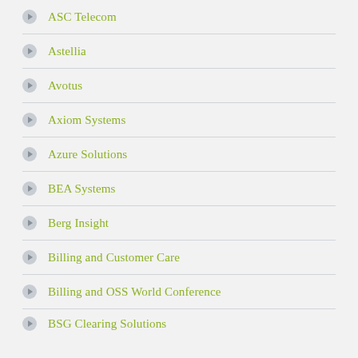ASC Telecom
Astellia
Avotus
Axiom Systems
Azure Solutions
BEA Systems
Berg Insight
Billing and Customer Care
Billing and OSS World Conference
BSG Clearing Solutions